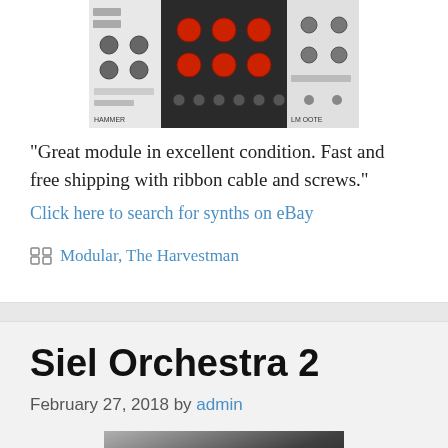[Figure (photo): Photo of a synthesizer module (Hammer) with knobs and patch points, dark background]
“Great module in excellent condition. Fast and free shipping with ribbon cable and screws.”
Click here to search for synths on eBay
Modular, The Harvestman
Siel Orchestra 2
February 27, 2018 by admin
[Figure (photo): Partial photo of the Siel Orchestra 2 synthesizer, bottom edge visible]